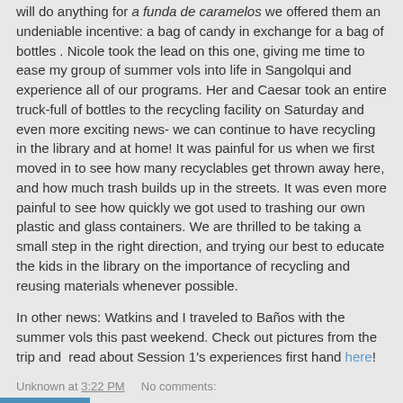will do anything for a funda de caramelos  we offered them an undeniable incentive: a bag of candy in exchange for a bag of bottles . Nicole took the lead on this one, giving me time to ease my group of summer vols into life in Sangolqui and experience all of our programs. Her and Caesar took an entire truck-full of bottles to the recycling facility on Saturday and even more exciting news- we can continue to have recycling in the library and at home! It was painful for us when we first moved in to see how many recyclables get thrown away here, and how much trash builds up in the streets. It was even more painful to see how quickly we got used to trashing our own plastic and glass containers. We are thrilled to be taking a small step in the right direction, and trying our best to educate the kids in the library on the importance of recycling and reusing materials whenever possible.
In other news: Watkins and I traveled to Baños with the summer vols this past weekend. Check out pictures from the trip and  read about Session 1's experiences first hand here!
Unknown at 3:22 PM    No comments: